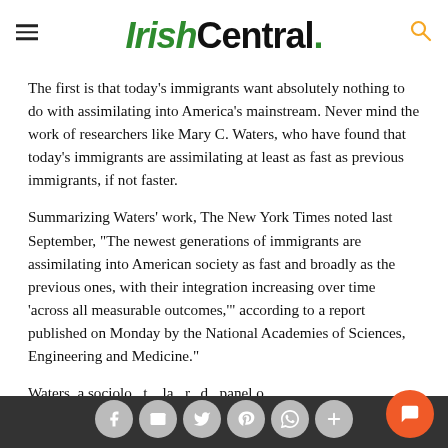IrishCentral.
The first is that today’s immigrants want absolutely nothing to do with assimilating into America’s mainstream. Never mind the work of researchers like Mary C. Waters, who have found that today’s immigrants are assimilating at least as fast as previous immigrants, if not faster.
Summarizing Waters’ work, The New York Times noted last September, “The newest generations of immigrants are assimilating into American society as fast and broadly as the previous ones, with their integration increasing over time ‘across all measurable outcomes,’” according to a report published on Monday by the National Academies of Sciences, Engineering and Medicine.”
Waters, a sociolo[...] la[...] r[...] d [...] panel o[...]